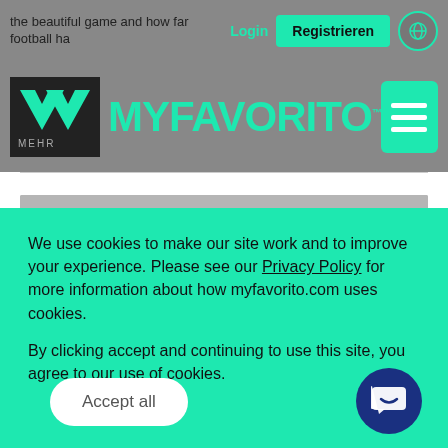the beautiful game and how far football ha...   Login   Registrieren
[Figure (logo): MYFAVORITO logo with teal M shapes and text, hamburger menu button]
We use cookies to make our site work and to improve your experience. Please see our Privacy Policy for more information about how myfavorito.com uses cookies.

By clicking accept and continuing to use this site, you agree to our use of cookies.
Accept all